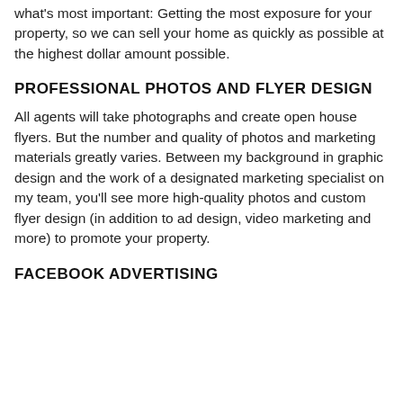what's most important: Getting the most exposure for your property, so we can sell your home as quickly as possible at the highest dollar amount possible.
PROFESSIONAL PHOTOS AND FLYER DESIGN
All agents will take photographs and create open house flyers. But the number and quality of photos and marketing materials greatly varies. Between my background in graphic design and the work of a designated marketing specialist on my team, you'll see more high-quality photos and custom flyer design (in addition to ad design, video marketing and more) to promote your property.
FACEBOOK ADVERTISING